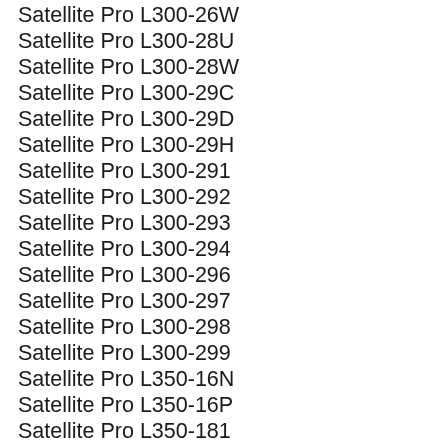Satellite Pro L300-26W
Satellite Pro L300-28U
Satellite Pro L300-28W
Satellite Pro L300-29C
Satellite Pro L300-29D
Satellite Pro L300-29H
Satellite Pro L300-291
Satellite Pro L300-292
Satellite Pro L300-293
Satellite Pro L300-294
Satellite Pro L300-296
Satellite Pro L300-297
Satellite Pro L300-298
Satellite Pro L300-299
Satellite Pro L350-16N
Satellite Pro L350-16P
Satellite Pro L350-181
Satellite Pro L450
Satellite Pro L450 series
Satellite Pro L450D-11I